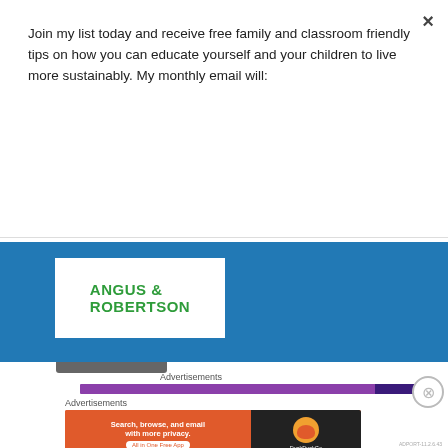Join my list today and receive free family and classroom friendly tips on how you can educate yourself and your children to live more sustainably. My monthly email will:
Subscribe
[Figure (logo): Angus & Robertson bookstore logo on blue background banner]
Advertisements
[Figure (infographic): Purple advertisement bar with close button]
Advertisements
[Figure (screenshot): DuckDuckGo advertisement: Search, browse, and email with more privacy. All in One Free App]